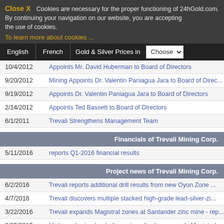Close X   Cookies are necessary for the proper functioning of 24hGold.com. By continuing your navigation on our website, you are accepting the use of cookies.
To learn more about cookies ...
English | French | Gold & Silver Prices in | Choose
10/4/2012 - Appoints Mr. David Huberman to Board of Directors
9/20/2012 - Mining Appoints Dr. Valentin Paniagua Jara to Board of Direc...
9/19/2012 - Appoints Dr. Valentin Paniagua Jara to Board of Directors
2/14/2012 - Appoints Ted Bassett to Board of Directors
6/1/2011 - Trevali Strengthens Management Team
Financials of Trevali Mining Corp.
5/11/2016 - reports Q1-2016 financial results
Project news of Trevali Mining Corp.
6/2/2016 - Trevali reports additional drill results from new Oyon Zone ...
4/7/2016 - Trevali discovers multiple stacked high-grade lead-silver-zi...
3/22/2016 - Trevali expands Magistral zones at Santander zinc mine - rep...
9/25/2015 - High-grade zinc-lead-silver mineralization expands Magistral...
4/16/2015 - Trevali intersects 50.9 metres of massive sulphide mineraliz...